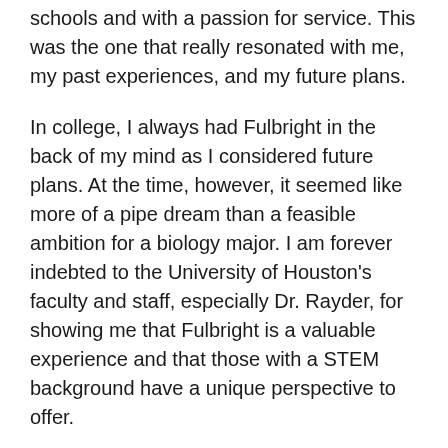schools and with a passion for service. This was the one that really resonated with me, my past experiences, and my future plans.
In college, I always had Fulbright in the back of my mind as I considered future plans. At the time, however, it seemed like more of a pipe dream than a feasible ambition for a biology major. I am forever indebted to the University of Houston's faculty and staff, especially Dr. Rayder, for showing me that Fulbright is a valuable experience and that those with a STEM background have a unique perspective to offer.
I did not know much about the Czech Republic initially— I had not studied abroad or even gone for a vacation there. But the more I learned about the culture and the people, the more I realized how